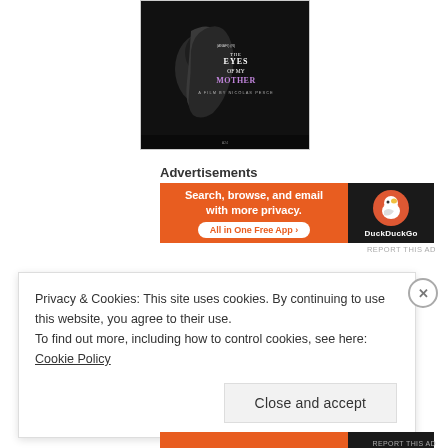[Figure (other): Movie poster for 'The Eyes of My Mother' - black and white image of a woman's face in profile with the title text overlaid]
Advertisements
[Figure (other): DuckDuckGo advertisement banner: orange left panel with text 'Search, browse, and email with more privacy. All in One Free App' and dark right panel with DuckDuckGo duck logo and brand name]
REPORT THIS AD
Privacy & Cookies: This site uses cookies. By continuing to use this website, you agree to their use.
To find out more, including how to control cookies, see here: Cookie Policy
Close and accept
[Figure (other): Partial DuckDuckGo advertisement banner at bottom of page, partially cut off]